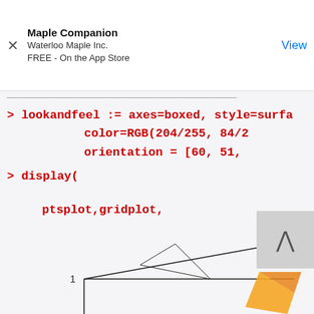Maple Companion
Waterloo Maple Inc.
FREE - On the App Store
designed to bring repeatable results that the differences
> lookandfeel := axes=boxed, style=surfa
                    color=RGB(204/255, 84/2
                    orientation = [60, 51,
> display(


          ptsplot,gridplot,


          surfdata(data3D, 1..7, 1..9, lookan


                    );
[Figure (engineering-diagram): Partial 3D surface plot with wireframe/triangular mesh at the bottom of the page, showing axis label '1' and partial orange/yellow surface shape in lower right corner.]